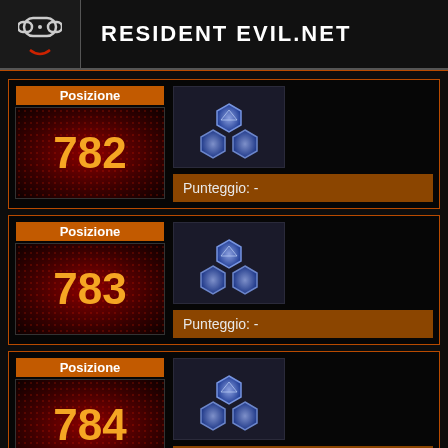RESIDENT EVIL.NET
Posizione 782
Punteggio: -
Posizione 783
Punteggio: -
Posizione 784
Punteggio: -
Posizione (partial)